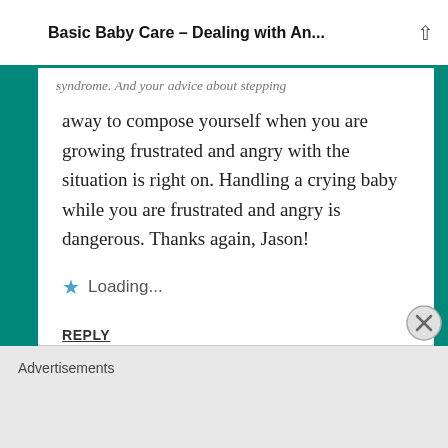Basic Baby Care – Dealing with An...
syndrome. And your advice about stepping away to compose yourself when you are growing frustrated and angry with the situation is right on. Handling a crying baby while you are frustrated and angry is dangerous. Thanks again, Jason!
Loading...
REPLY
Advertisements